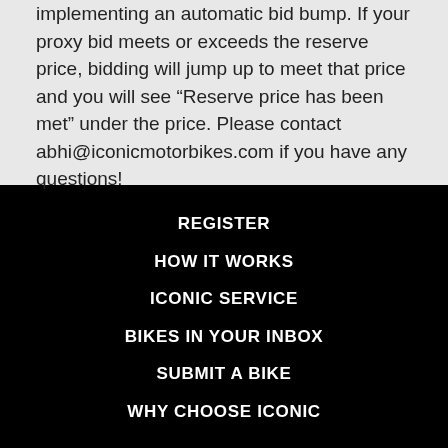implementing an automatic bid bump. If your proxy bid meets or exceeds the reserve price, bidding will jump up to meet that price and you will see “Reserve price has been met” under the price. Please contact abhi@iconicmotorbikes.com if you have any questions!
REGISTER
HOW IT WORKS
ICONIC SERVICE
BIKES IN YOUR INBOX
SUBMIT A BIKE
WHY CHOOSE ICONIC